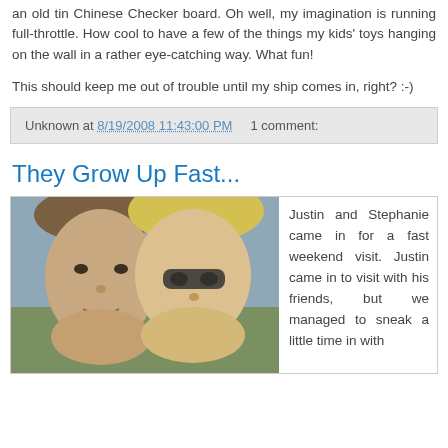an old tin Chinese Checker board. Oh well, my imagination is running full-throttle. How cool to have a few of the things my kids' toys hanging on the wall in a rather eye-catching way. What fun!
This should keep me out of trouble until my ship comes in, right? :-)
Unknown at 8/19/2008 11:43:00 PM    1 comment:
They Grow Up Fast...
[Figure (photo): Photo of two young people (a teenage boy and a blonde woman) close together, appearing to be outdoors.]
Justin and Stephanie came in for a fast weekend visit. Justin came in to visit with his friends, but we managed to sneak a little time in with